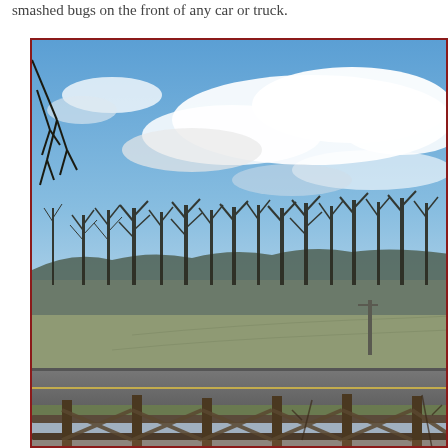smashed bugs on the front of any car or truck.
[Figure (photo): Outdoor landscape photograph showing a rural scene with a wooden fence in the foreground, a road with yellow center line, an open grassy field, a row of bare deciduous trees in the middle distance, rolling hills in the background, and a partly cloudy blue sky. The photo has a dark red/maroon border.]